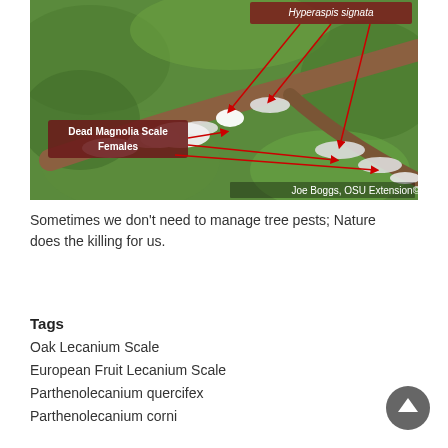[Figure (photo): Close-up photograph of a tree branch covered in white waxy scale insects. Red arrows point to small beetles labeled 'Hyperaspis signata' at the top, and larger white masses labeled 'Dead Magnolia Scale Females' at the bottom left. Photo credit: Joe Boggs, OSU Extension©]
Sometimes we don't need to manage tree pests; Nature does the killing for us.
Tags
Oak Lecanium Scale
European Fruit Lecanium Scale
Parthenolecanium quercifex
Parthenolecanium corni